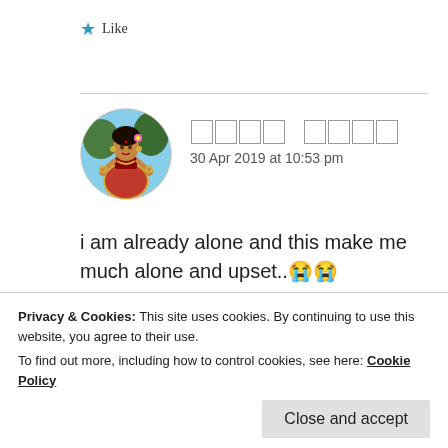★ Like
[Figure (photo): Circular avatar image of a woman in traditional Indian attire with jewelry]
□□□□ □□□□
30 Apr 2019 at 10:53 pm
i am already alone and this make me much alone and upset..😭😭
★ Like
Privacy & Cookies: This site uses cookies. By continuing to use this website, you agree to their use.
To find out more, including how to control cookies, see here: Cookie Policy
Close and accept
30 Apr 2019 at 10:54 pm